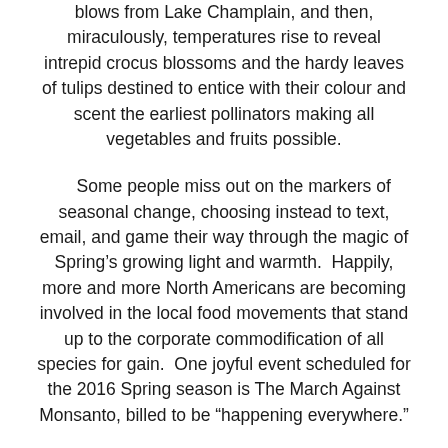blows from Lake Champlain, and then, miraculously, temperatures rise to reveal intrepid crocus blossoms and the hardy leaves of tulips destined to entice with their colour and scent the earliest pollinators making all vegetables and fruits possible.
Some people miss out on the markers of seasonal change, choosing instead to text, email, and game their way through the magic of Spring's growing light and warmth.  Happily, more and more North Americans are becoming involved in the local food movements that stand up to the corporate commodification of all species for gain.  One joyful event scheduled for the 2016 Spring season is The March Against Monsanto, billed to be “happening everywhere.”
Many have heard of the five west-coast cities joining forces in the legal fight against chemical giant Monsanto, just as many have abandoned using its toxic products in